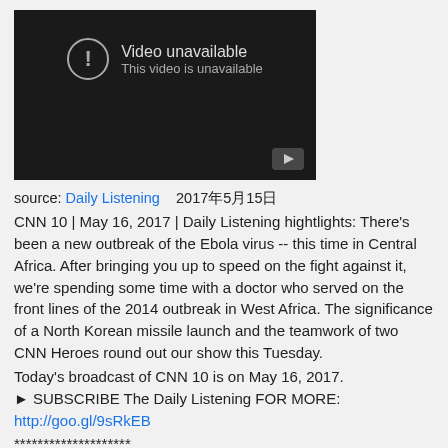[Figure (screenshot): YouTube embedded video player showing 'Video unavailable / This video is unavailable' message with a play button in the bottom right corner.]
source: Daily Listening    2017年5月15日
CNN 10 | May 16, 2017 | Daily Listening hightlights: There's been a new outbreak of the Ebola virus -- this time in Central Africa. After bringing you up to speed on the fight against it, we're spending some time with a doctor who served on the front lines of the 2014 outbreak in West Africa. The significance of a North Korean missile launch and the teamwork of two CNN Heroes round out our show this Tuesday.
Today's broadcast of CNN 10 is on May 16, 2017.
► SUBSCRIBE The Daily Listening FOR MORE:
http://goo.gl/9sRkEB
********************
CNN 10 serves a growing audience interested in compact on-demand news broadcasts ideal for explanation seekers